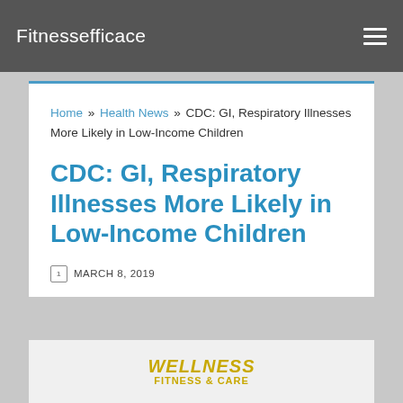Fitnessefficace
Home » Health News » CDC: GI, Respiratory Illnesses More Likely in Low-Income Children
CDC: GI, Respiratory Illnesses More Likely in Low-Income Children
MARCH 8, 2019
[Figure (logo): WELLNESS FITNESS CARE logo in yellow/gold color]